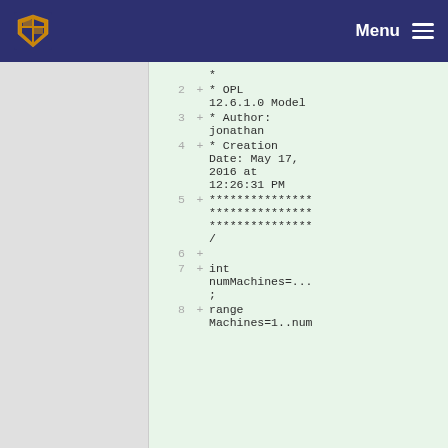Menu
[Figure (screenshot): University crest/shield logo in navigation bar]
Code diff view showing OPL 12.6.1.0 model file lines 2-8:
Line 2: + * OPL 12.6.1.0 Model
Line 3: + * Author: jonathan
Line 4: + * Creation Date: May 17, 2016 at 12:26:31 PM
Line 5: + ***********************************************/
Line 6: +
Line 7: + int numMachines=...;
Line 8: + range Machines=1..num